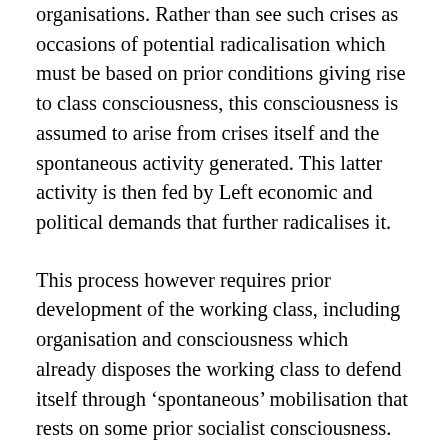organisations.  Rather than see such crises as occasions of potential radicalisation which must be based on prior conditions giving rise to class consciousness, this consciousness is assumed to arise from crises itself and the spontaneous activity generated.  This latter activity is then fed by Left economic and political demands that further radicalises it.
This process however requires prior development of the working class, including organisation and consciousness which already disposes the working class to defend itself through 'spontaneous' mobilisation that rests on some prior socialist consciousness.  We know that a lack of such consciousness has not been overcome by crisis in itself because of previous decades of defeats of working-class struggle; from a sober assessment of current working-class consciousness and passivity, and from appreciation